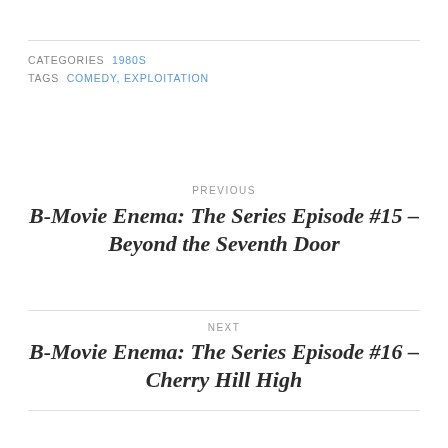CATEGORIES  1980S
TAGS  COMEDY, EXPLOITATION
PREVIOUS
B-Movie Enema: The Series Episode #15 – Beyond the Seventh Door
NEXT
B-Movie Enema: The Series Episode #16 – Cherry Hill High